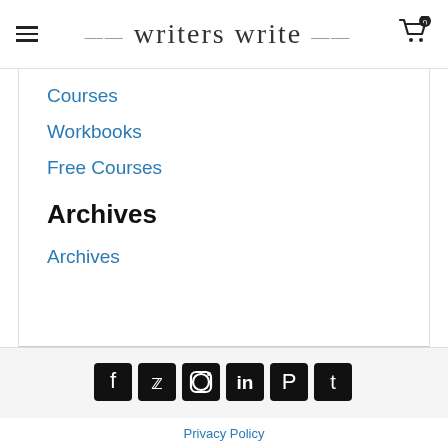writers write
Courses
Workbooks
Free Courses
Archives
Archives
[Figure (other): Row of 6 social media icons: Facebook, Twitter, Instagram, LinkedIn, Pinterest, Tumblr — all black square buttons with white icons]
Privacy Policy